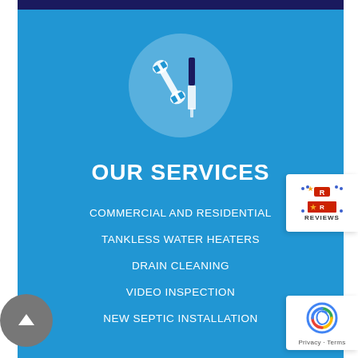[Figure (illustration): Wrench and screwdriver tools icon inside a light blue circle on a blue background]
OUR SERVICES
COMMERCIAL AND RESIDENTIAL
TANKLESS WATER HEATERS
DRAIN CLEANING
VIDEO INSPECTION
NEW SEPTIC INSTALLATION